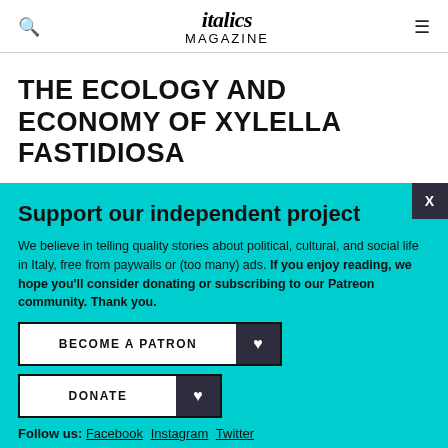italics Magazine
THE ECOLOGY AND ECONOMY OF XYLELLA FASTIDIOSA
Support our independent project
We believe in telling quality stories about political, cultural, and social life in Italy, free from paywalls or (too many) ads. If you enjoy reading, we hope you'll consider donating or subscribing to our Patreon community. Thank you.
BECOME A PATRON
DONATE
Follow us: Facebook Instagram Twitter